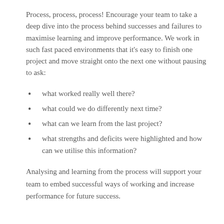Process, process, process! Encourage your team to take a deep dive into the process behind successes and failures to maximise learning and improve performance. We work in such fast paced environments that it's easy to finish one project and move straight onto the next one without pausing to ask:
what worked really well there?
what could we do differently next time?
what can we learn from the last project?
what strengths and deficits were highlighted and how can we utilise this information?
Analysing and learning from the process will support your team to embed successful ways of working and increase performance for future success.